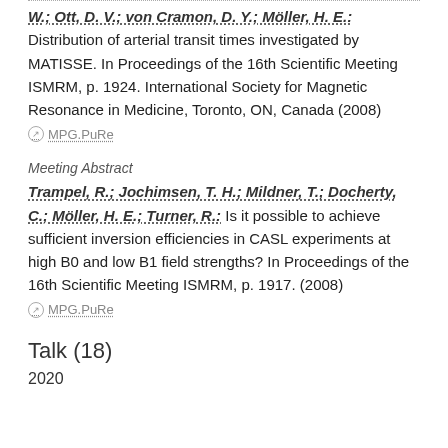W.; Ott, D. V.; von Cramon, D. Y.; Möller, H. E.: Distribution of arterial transit times investigated by MATISSE. In Proceedings of the 16th Scientific Meeting ISMRM, p. 1924. International Society for Magnetic Resonance in Medicine, Toronto, ON, Canada (2008)
MPG.PuRe
Meeting Abstract
Trampel, R.; Jochimsen, T. H.; Mildner, T.; Docherty, C.; Möller, H. E.; Turner, R.: Is it possible to achieve sufficient inversion efficiencies in CASL experiments at high B0 and low B1 field strengths? In Proceedings of the 16th Scientific Meeting ISMRM, p. 1917. (2008)
MPG.PuRe
Talk (18)
2020